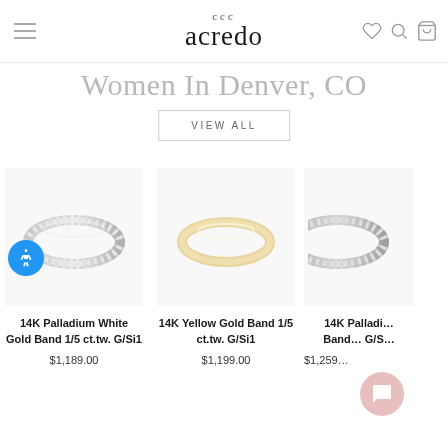acredo
Women In Denver, CO
VIEW ALL
[Figure (photo): 14K Palladium White Gold diamond band ring, product photo on white background]
14K Palladium White Gold Band 1/5 ct.tw. G/Si1
$1,189.00
[Figure (photo): 14K Yellow Gold diamond band ring, product photo on white background]
14K Yellow Gold Band 1/5 ct.tw. G/Si1
$1,199.00
[Figure (photo): 14K Palladium (partial) diamond band ring, product photo on white background, partially cropped]
14K Palladi… Band… G/S…
$1,259…